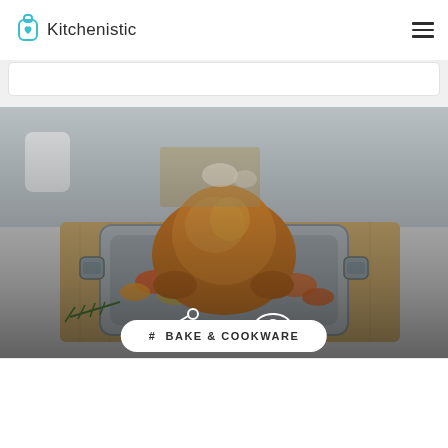Kitchenistic
[Figure (photo): A roasted turkey in a stainless steel roasting pan with handles, sitting on a wooden cutting board with vegetables and herbs, on a kitchen countertop. Overlay shows SHARE and 2029 view count icons.]
# BAKE & COOKWARE